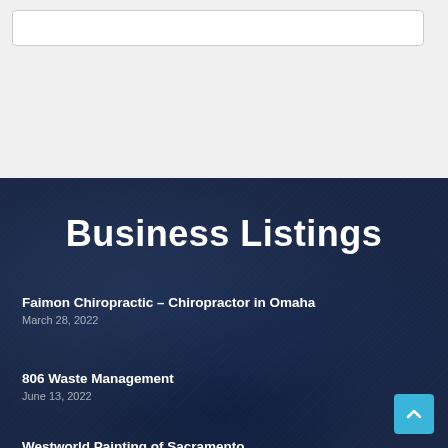[Figure (screenshot): Top white/light gray section with a search bar outline]
Business Listings
Faimon Chiropractic – Chiropractor in Omaha
March 28, 2022
806 Waste Management
June 13, 2022
Westworld Painting of Sacramento